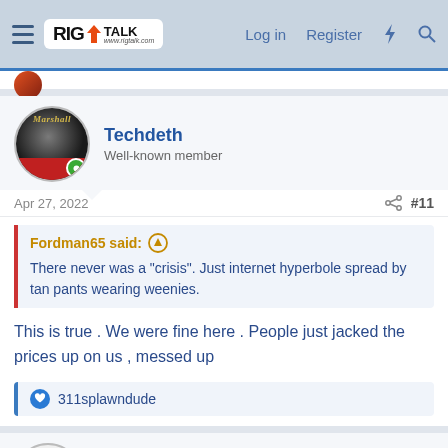RIG TALK — Log in  Register
Techdeth
Well-known member
Apr 27, 2022  #11
Fordman65 said:
There never was a "crisis". Just internet hyperbole spread by tan pants wearing weenies.
This is true . We were fine here . People just jacked the prices up on us , messed up
311splawndude
MadAsAHatter
Well-known member